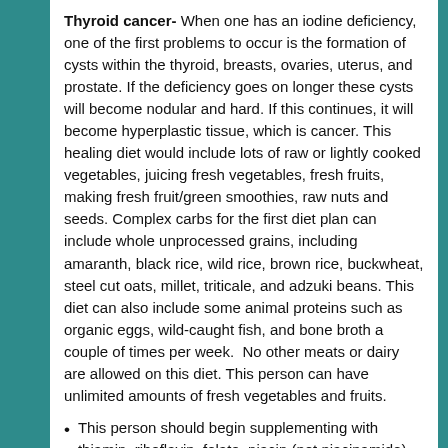Thyroid cancer- When one has an iodine deficiency, one of the first problems to occur is the formation of cysts within the thyroid, breasts, ovaries, uterus, and prostate. If the deficiency goes on longer these cysts will become nodular and hard. If this continues, it will become hyperplastic tissue, which is cancer. This healing diet would include lots of raw or lightly cooked vegetables, juicing fresh vegetables, fresh fruits, making fresh fruit/green smoothies, raw nuts and seeds. Complex carbs for the first diet plan can include whole unprocessed grains, including amaranth, black rice, wild rice, brown rice, buckwheat, steel cut oats, millet, triticale, and adzuki beans. This diet can also include some animal proteins such as organic eggs, wild-caught fish, and bone broth a couple of times per week.  No other meats or dairy are allowed on this diet. This person can have unlimited amounts of fresh vegetables and fruits.
This person should begin supplementing with thiamin, riboflavin, folate, niacin (not niacinamide), vitamin D3, vitamin k2, vitamin C, chromium, selenium, manganese, zinc, magnesium, potassium, and Amino Acid Tablets